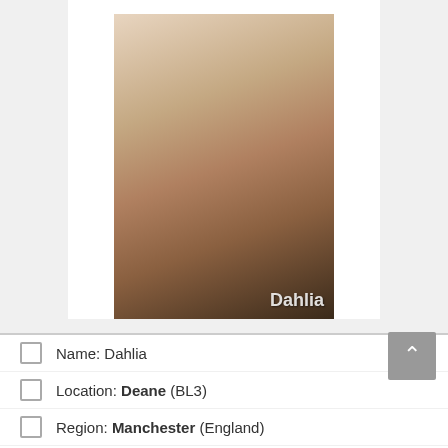[Figure (photo): Profile photo of a woman named Dahlia, blonde, wearing a black bikini top, posing against a light wall. Name 'Dahlia' watermarked in bottom right.]
Name: Dahlia
Location: Deane (BL3)
Region: Manchester (England)
Category: Strippers Manchester
Nationality: Welsh